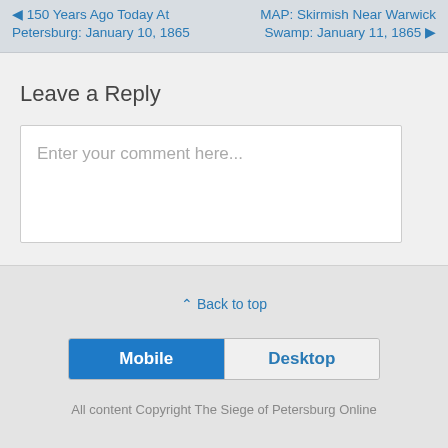◄ 150 Years Ago Today At Petersburg: January 10, 1865   MAP: Skirmish Near Warwick Swamp: January 11, 1865 ►
Leave a Reply
Enter your comment here...
⌃ Back to top
Mobile   Desktop
All content Copyright The Siege of Petersburg Online